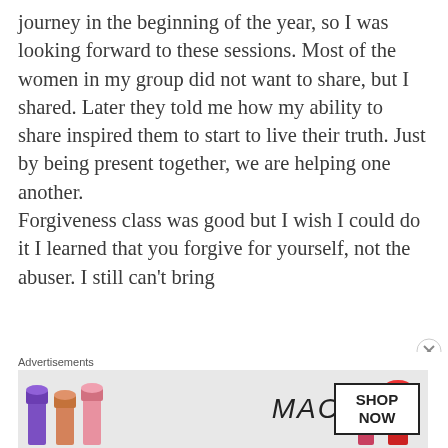journey in the beginning of the year, so I was looking forward to these sessions. Most of the women in my group did not want to share, but I shared. Later they told me how my ability to share inspired them to start to live their truth. Just by being present together, we are helping one another. Forgiveness class was good but I wish I could do it I learned that you forgive for yourself, not the abuser. I still can't bring
[Figure (illustration): MAC cosmetics advertisement banner showing lipsticks in purple, peach/coral, and pink/red colors, with MAC logo and a SHOP NOW button in a box]